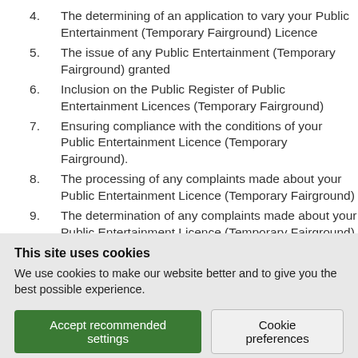4. The determining of an application to vary your Public Entertainment (Temporary Fairground) Licence
5. The issue of any Public Entertainment (Temporary Fairground) granted
6. Inclusion on the Public Register of Public Entertainment Licences (Temporary Fairground)
7. Ensuring compliance with the conditions of your Public Entertainment Licence (Temporary Fairground).
8. The processing of any complaints made about your Public Entertainment Licence (Temporary Fairground)
9. The determination of any complaints made about your Public Entertainment Licence (Temporary Fairground)
10. The submission of any statutory returns relating to
This site uses cookies
We use cookies to make our website better and to give you the best possible experience.
Accept recommended settings | Cookie preferences